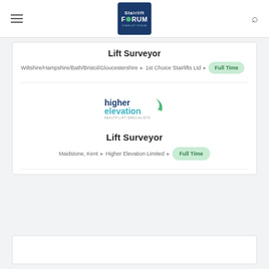Stairlift Forum
Lift Surveyor
Wiltshire/Hampshire/Bath/Bristol/Gloucestershire ▸ 1st Choice Stairlifts Ltd ▸ Full Time
[Figure (logo): Higher Elevation logo with blue text and teal swoosh, subtitle 'HEALTH LIFT SPECIALISTS']
Lift Surveyor
Maidstone, Kent ▸ Higher Elevation Limited ▸ Full Time